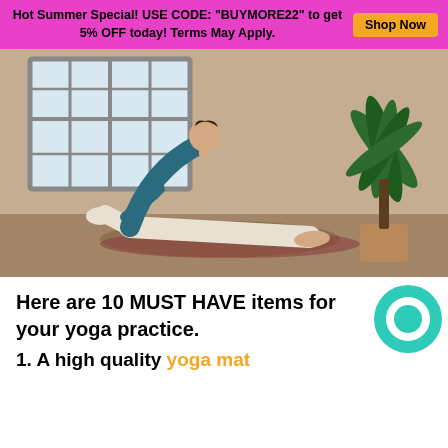Hot Summer Special! USE CODE: "BUYMORE22" to get 5% OFF today! Terms May Apply.  [Shop Now]
[Figure (photo): Woman performing a yoga backbend (low lunge with backbend) on a mat in a studio with a large window and a palm plant in the background.]
Here are 10 MUST HAVE items for your yoga practice.
1. A high quality yoga mat